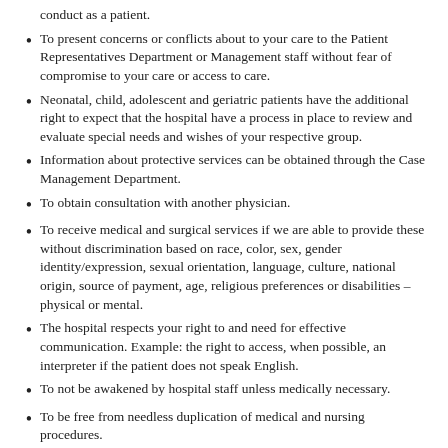conduct as a patient.
To present concerns or conflicts about to your care to the Patient Representatives Department or Management staff without fear of compromise to your care or access to care.
Neonatal, child, adolescent and geriatric patients have the additional right to expect that the hospital have a process in place to review and evaluate special needs and wishes of your respective group.
Information about protective services can be obtained through the Case Management Department.
To obtain consultation with another physician.
To receive medical and surgical services if we are able to provide these without discrimination based on race, color, sex, gender identity/expression, sexual orientation, language, culture, national origin, source of payment, age, religious preferences or disabilities – physical or mental.
The hospital respects your right to and need for effective communication. Example: the right to access, when possible, an interpreter if the patient does not speak English.
To not be awakened by hospital staff unless medically necessary.
To be free from needless duplication of medical and nursing procedures.